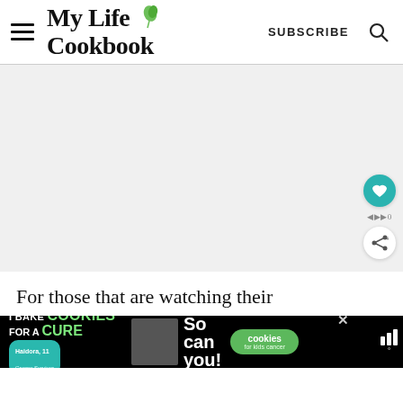My Life Cookbook — SUBSCRIBE
[Figure (other): Large blank/white image area (main article image placeholder)]
For those that are watching their
[Figure (screenshot): Advertisement banner: I Bake COOKIES For A CURE / Haidora, 11 Cancer Survivor / So can you! / cookies for kids cancer logo]